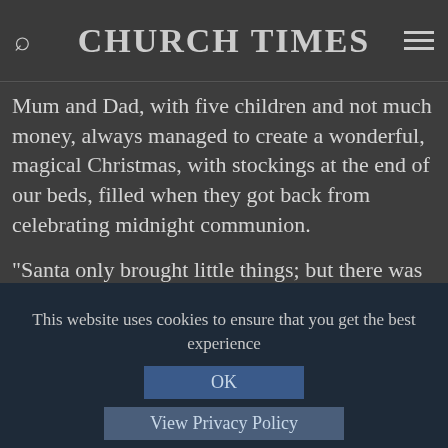CHURCH TIMES
Mum and Dad, with five children and not much money, always managed to create a wonderful, magical Christmas, with stockings at the end of our beds, filled when they got back from celebrating midnight communion.
"Santa only brought little things; but there was just something so exciting about discovering our socks with lots of lumpy gifts inside."
She cannot remember what her parents said to her, but reflects: "I don't think they ever lied, and I don't think I ever
This website uses cookies to ensure that you get the best experience
OK
View Privacy Policy